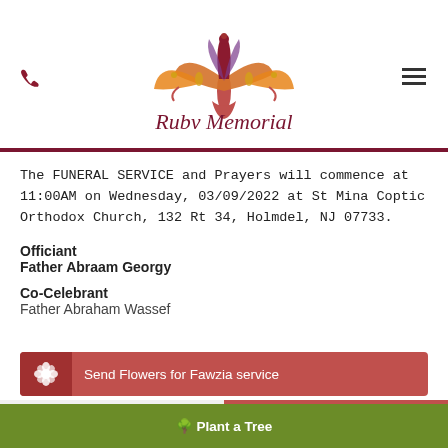[Figure (logo): Ruby Memorial logo with decorative floral/bird motif in orange, red, purple and gold colors, with cursive text 'Ruby Memorial' below]
The FUNERAL SERVICE and Prayers will commence at 11:00AM on Wednesday, 03/09/2022 at St Mina Coptic Orthodox Church, 132 Rt 34, Holmdel, NJ 07733.
Officiant
Father Abraam Georgy
Co-Celebrant
Father Abraham Wassef
Send Flowers for Fawzia service
Share a memory
Send Flowers
Plant a Tree